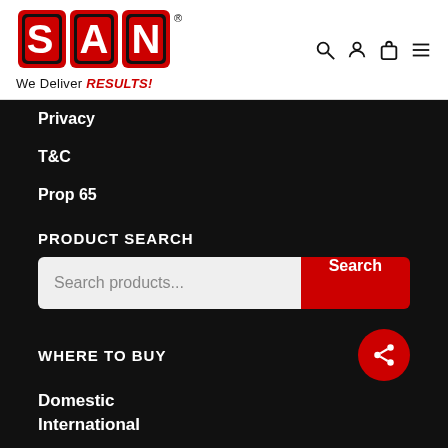[Figure (logo): SAN logo with red block lettering and registered trademark symbol, with tagline 'We Deliver RESULTS!' below]
Privacy
T&C
Prop 65
PRODUCT SEARCH
Search products...
WHERE TO BUY
Domestic
International